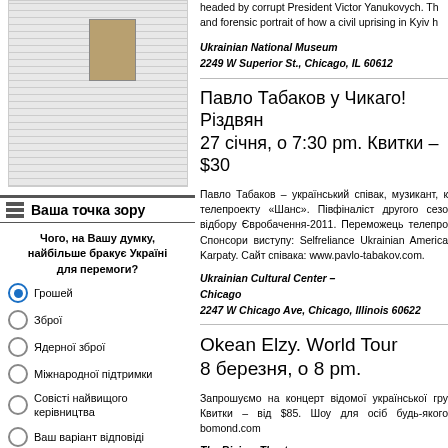[Figure (illustration): Thumbnail of a newspaper page with the Mona Lisa image visible]
Ваша точка зору
Чого, на Вашу думку, найбільше бракує Україні для перемоги?
Грошей
Зброї
Ядерної зброї
Міжнародної підтримки
Совісті найвищого керівництва
Ваш варіант відповіді
headed by corrupt President Victor Yanukovych. Th and forensic portrait of how a civil uprising in Kyiv h
Ukrainian National Museum
2249 W Superior St., Chicago, IL 60612
Павло Табаков у Чикаго! Різдвян 27 січня, о 7:30 pm. Квитки – $30
Павло Табаков – український співак, музикант, к телепроекту «Шанс». Півфіналіст другого сезо відбору Євробачення-2011. Переможець телепро Спонсори виступу: Selfreliance Ukrainian America Karpaty. Сайт співака: www.pavlo-tabakov.com.
Ukrainian Cultural Center –
Chicago
2247 W Chicago Ave, Chicago, Illinois 60622
Okean Elzy. World Tour
8 березня, о 8 pm.
Запрошуємо на концерт відомої української гру Квитки – від $85. Шоу для осіб будь-якого bomond.com
The Riviera Theatre